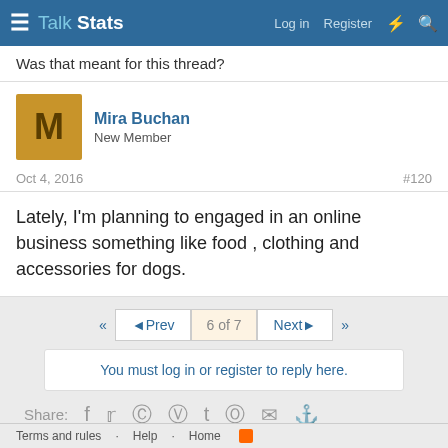Talk Stats — Log in  Register
Was that meant for this thread?
Mira Buchan
New Member
Oct 4, 2016  #120
Lately, I'm planning to engaged in an online business something like food , clothing and accessories for dogs.
◄ Prev  6 of 7  Next ►
You must log in or register to reply here.
Share:
‹ Random Chat
Terms and rules · Help · Home